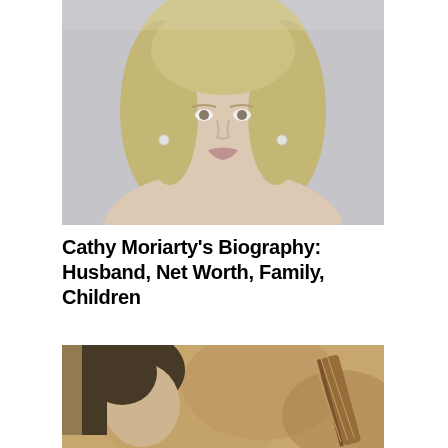[Figure (photo): Portrait photo of Cathy Moriarty, a blonde woman with shoulder-length hair wearing pearl earrings, facing the camera against a light gray background.]
Cathy Moriarty's Biography: Husband, Net Worth, Family, Children
[Figure (photo): Photo of a young person with dark short hair, partially visible, against a tan/brown patterned background with what appears to be a guitar neck visible.]